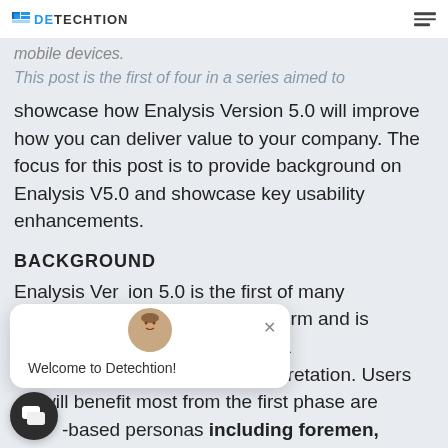DETECHTION (logo)
mobile devices.
This post is the first of four in a series aimed to showcase how Enalysis Version 5.0 will improve how you can deliver value to your company. The focus for this post is to provide background on Enalysis V5.0 and showcase key usability enhancements.
BACKGROUND
Enalysis Version 5.0 is the first of many new platform and is customers based on a foundation of analysis and interpretation. Users will benefit most from the first phase are -based personas including foremen, engineers, rotating equipment managers, and
Welcome to Detechtion!